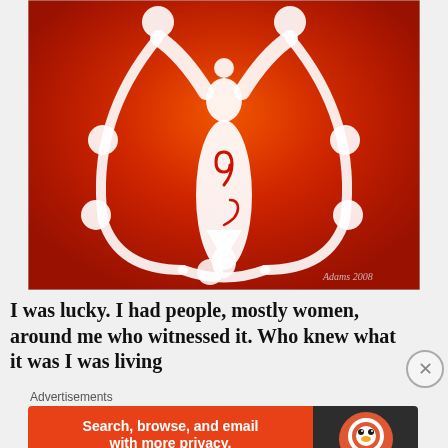[Figure (illustration): Painting on red/orange background showing a white stylized goddess figure with arms raised, surrounded by a circular chain of white spheres. A red spiral symbol is on the figure's torso. Signed 'Adams 2008' in lower right.]
I was lucky. I had people, mostly women, around me who witnessed it. Who knew what it was I was living
Advertisements
[Figure (screenshot): DuckDuckGo advertisement banner. Left side orange with text: 'Search, browse, and email with more privacy. All in One Free App'. Right side dark with DuckDuckGo logo.]